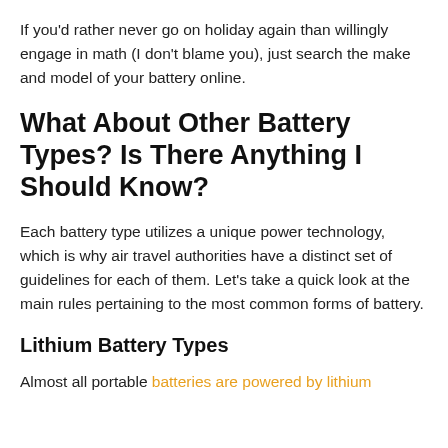If you'd rather never go on holiday again than willingly engage in math (I don't blame you), just search the make and model of your battery online.
What About Other Battery Types? Is There Anything I Should Know?
Each battery type utilizes a unique power technology, which is why air travel authorities have a distinct set of guidelines for each of them. Let's take a quick look at the main rules pertaining to the most common forms of battery.
Lithium Battery Types
Almost all portable batteries are powered by lithium